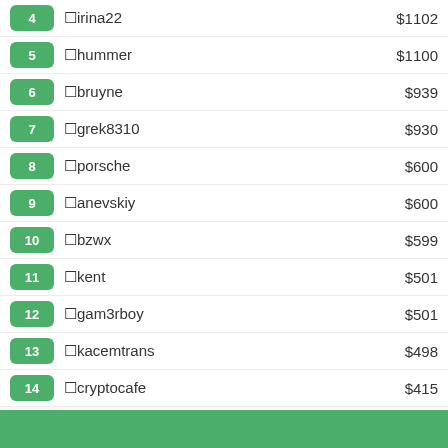| Rank | Username | Amount |
| --- | --- | --- |
| 4 | ⬜irina22 | $1102 |
| 5 | ⬜hummer | $1100 |
| 6 | ⬜bruyne | $939 |
| 7 | ⬜grek8310 | $930 |
| 8 | ⬜porsche | $600 |
| 9 | ⬜anevskiy | $600 |
| 10 | ⬜bzwx | $599 |
| 11 | ⬜kent | $501 |
| 12 | ⬜gam3rboy | $501 |
| 13 | ⬜kacemtrans | $498 |
| 14 | ⬜cryptocafe | $415 |
| 15 | ⬜smartinvest | $400 |
| 16 | ⬜livewell | $400 |
| 17 | ⬜gamer | $393 |
| 18 | ⬜nguyenthanhphong | $381 |
| 19 | ⬜losive | $372 |
| 20 | ⬜master74 | $350 |